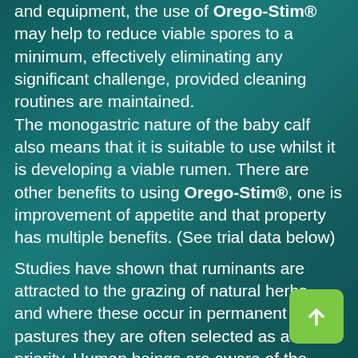and equipment, the use of Orego-Stim® may help to reduce viable spores to a minimum, effectively eliminating any significant challenge, provided cleaning routines are maintained. The monogastric nature of the baby calf also means that it is suitable to use whilst it is developing a viable rumen. There are other benefits to using Orego-Stim®, one is improvement of appetite and that property has multiple benefits. (See trial data below)
Studies have shown that ruminants are attracted to the grazing of natural herbs, and where these occur in permanent pastures they are often selected as a priority. Human beings are aware of the strong aromas from many of these herbs when they are added to our food. The perception of cows and calves